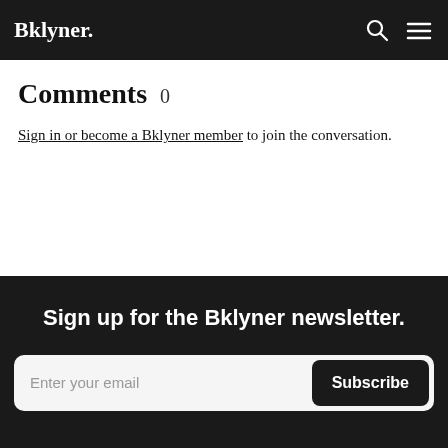Bklyner.
Comments 0
Sign in or become a Bklyner member to join the conversation.
Sign up for the Bklyner newsletter.
Enter your email  Subscribe